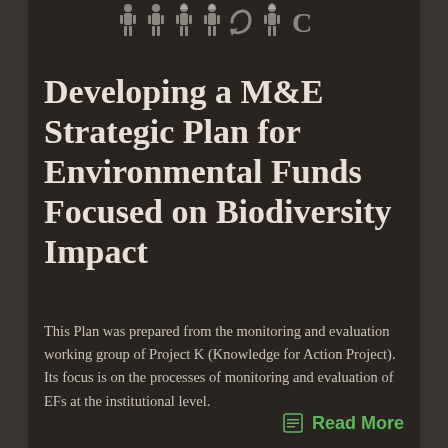[Figure (logo): Row of stylized human figure icons in a monochrome/gray graphic logo strip at the top of the page]
Developing a M&E Strategic Plan for Environmental Funds Focused on Biodiversity Impact
This Plan was prepared from the monitoring and evaluation working group of Project K (Knowledge for Action Project). Its focus is on the processes of monitoring and evaluation of EFs at the institutional level.
Read More